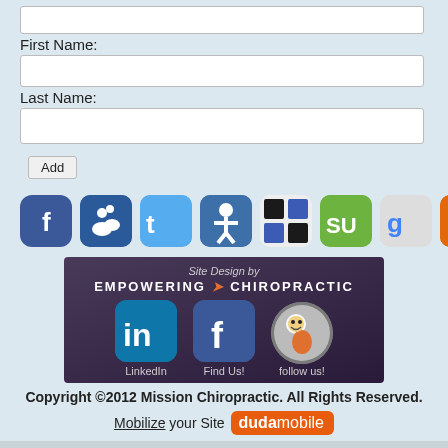First Name:
Last Name:
Add
[Figure (infographic): Row of 8 social media share icons: Facebook, Myspace/people, Twitter, a person icon, Delicious, StumbleUpon, Google+, RSS]
[Figure (infographic): Dark purple footer banner reading 'Site Design by EMPOWERING CHIROPRACTIC' with LinkedIn, Facebook, and Twitter/owl social icons and labels 'LinkedIn', 'Find Us!', 'follow us!']
Copyright ©2012 Mission Chiropractic. All Rights Reserved.
Mobilize your Site  duda mobile
View Site in Mobile  |  Classic